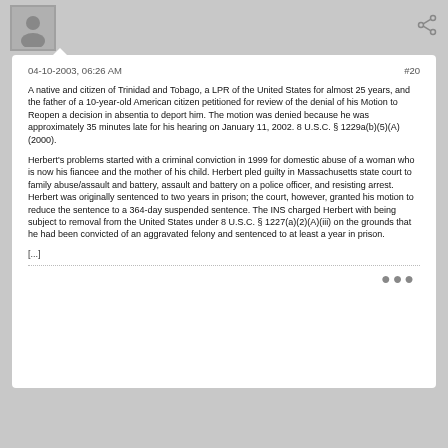04-10-2003, 06:26 AM   #20
A native and citizen of Trinidad and Tobago, a LPR of the United States for almost 25 years, and the father of a 10-year-old American citizen petitioned for review of the denial of his Motion to Reopen a decision in absentia to deport him. The motion was denied because he was approximately 35 minutes late for his hearing on January 11, 2002. 8 U.S.C. § 1229a(b)(5)(A) (2000).
Herbert's problems started with a criminal conviction in 1999 for domestic abuse of a woman who is now his fiancee and the mother of his child. Herbert pled guilty in Massachusetts state court to family abuse/assault and battery, assault and battery on a police officer, and resisting arrest. Herbert was originally sentenced to two years in prison; the court, however, granted his motion to reduce the sentence to a 364-day suspended sentence. The INS charged Herbert with being subject to removal from the United States under 8 U.S.C. § 1227(a)(2)(A)(iii) on the grounds that he had been convicted of an aggravated felony and sentenced to at least a year in prison.
[...]